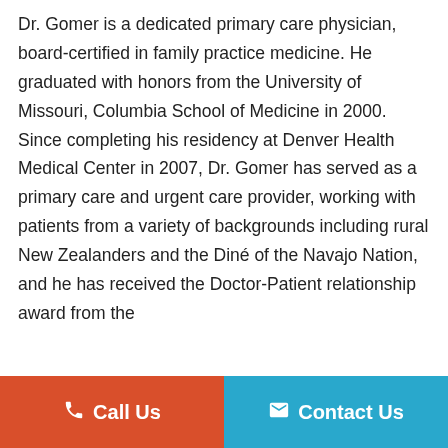Dr. Gomer is a dedicated primary care physician, board-certified in family practice medicine. He graduated with honors from the University of Missouri, Columbia School of Medicine in 2000. Since completing his residency at Denver Health Medical Center in 2007, Dr. Gomer has served as a primary care and urgent care provider, working with patients from a variety of backgrounds including rural New Zealanders and the Diné of the Navajo Nation, and he has received the Doctor-Patient relationship award from the
📞 Call Us
✉ Contact Us